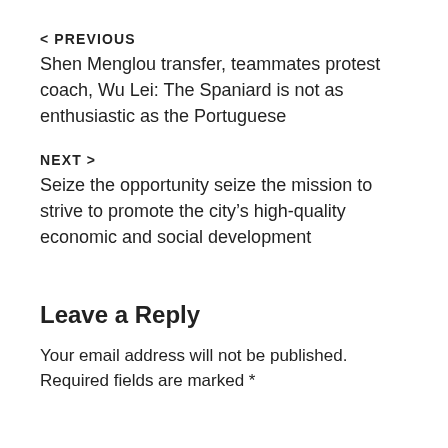< PREVIOUS
Shen Menglou transfer, teammates protest coach, Wu Lei: The Spaniard is not as enthusiastic as the Portuguese
NEXT >
Seize the opportunity seize the mission to strive to promote the city’s high-quality economic and social development
Leave a Reply
Your email address will not be published. Required fields are marked *